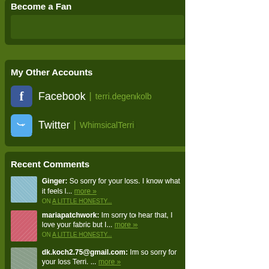Become a Fan
My Other Accounts
Facebook | terri.degenkolb
Twitter | WhimsicalTerri
Recent Comments
Ginger: So sorry for your loss. I know what it feels l... more » ON A LITTLE HONESTY...
mariapatchwork: Im sorry to hear that, I love your fabric but I... more » ON A LITTLE HONESTY...
dk.koch2.75@gmail.com: Im so sorry for your loss Terri. ... more »
I used lots of diffe as fabrics from my I was working on it Get it? Just spoolin that it would be a g
Another project tha